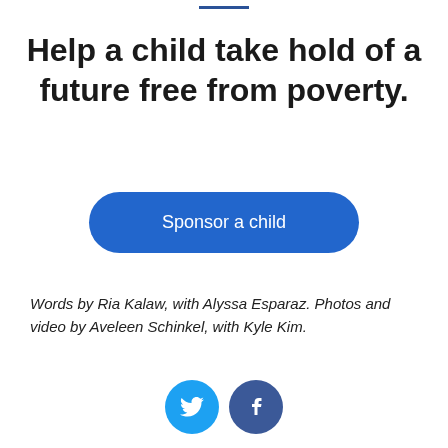Help a child take hold of a future free from poverty.
[Figure (other): Blue pill-shaped button with white text reading 'Sponsor a child']
Words by Ria Kalaw, with Alyssa Esparaz. Photos and video by Aveleen Schinkel, with Kyle Kim.
[Figure (infographic): Two circular social media icons: Twitter (light blue) and Facebook (dark blue)]